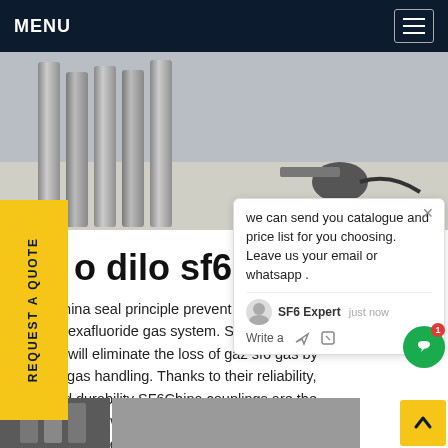MENU
[Figure (photo): Industrial SF6 gas cylinders/equipment photographed outdoors on a concrete surface]
REQUEST A QUOTE
we can send you catalogue and price list for you choosing. Leave us your email or whatsapp .
SF6 Expert   just now
Write a
o dilo sf6 Africa
SF6China seal principle prevent lating gas gas and moisture ... g Sulfr hexafluoride gas system. SF6China plings will eliminate the loss of gaz sf6 gas by orrect gas handling. Thanks to their reliability, lity and durability SF6China couplings are the world's most widely used connecting system for sf 6 switchgear.Get price
[Figure (photo): Bottom strip showing partial images of SF6 equipment]